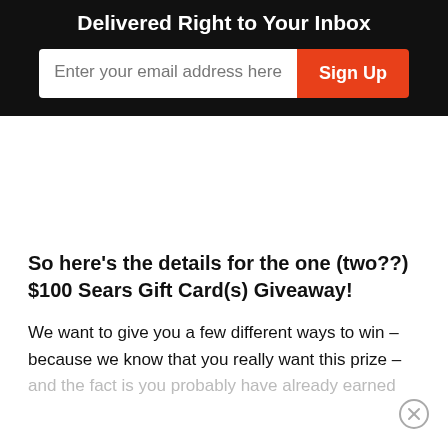Delivered Right to Your Inbox
Enter your email address here
Sign Up
So here's the details for the one (two??) $100 Sears Gift Card(s) Giveaway!
We want to give you a few different ways to win – because we know that you really want this prize – and the fact is you probably have already earned